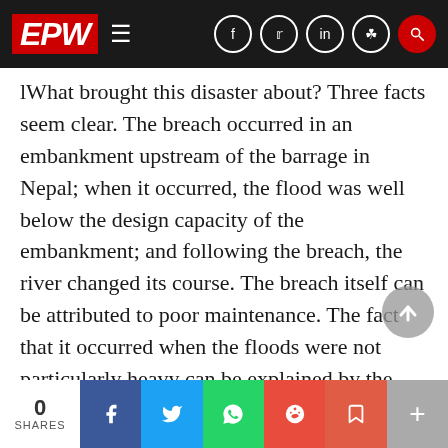EPW — Economic and Political Weekly navigation bar
lWhat brought this disaster about? Three facts seem clear. The breach occurred in an embankment upstream of the barrage in Nepal; when it occurred, the flood was well below the design capacity of the embankment; and following the breach, the river changed its course. The breach itself can be attributed to poor maintenance. The fact that it occurred when the floods were not particularly heavy can be explained by the fact that the deposition of silt had reduced the capacity of the struc-ture. And the change of course by the river was probably du the fact that the waters emerging from the bre
0 SHARES | Facebook | Twitter | WhatsApp | Reddit | Pocket | More